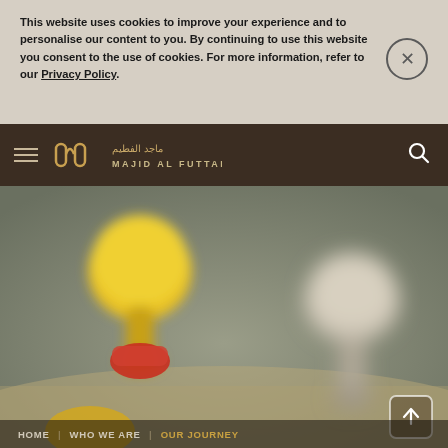This website uses cookies to improve your experience and to personalise our content to you. By continuing to use this website you consent to the use of cookies. For more information, refer to our Privacy Policy.
[Figure (logo): Majid Al Futtaim logo with Arabic text and navigation bar on dark brown background with hamburger menu and search icon]
[Figure (photo): Blurred close-up photo of colorful push pins (yellow and red in foreground, grey in background) on a sandy surface]
HOME | WHO WE ARE | OUR JOURNEY